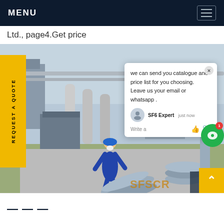MENU
Ltd., page4.Get price
[Figure (photo): Worker in blue coveralls and hard hat handling large grey cylinders/gas containers at an industrial substation site with transformers and pipework in background. A chat popup overlay is visible.]
REQUEST A QUOTE
we can send you catalogue and price list for you choosing. Leave us your email or whatsapp .
SF6 Expert    just now
Write a
SFSCR
^